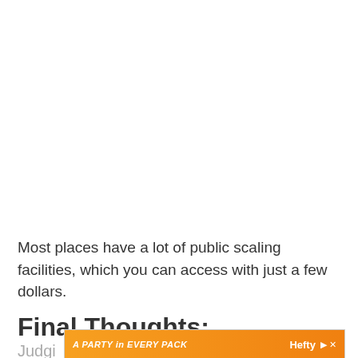Most places have a lot of public scaling facilities, which you can access with just a few dollars.
Final Thoughts:
Judgi...